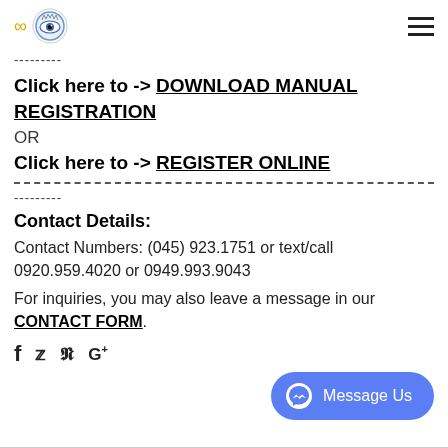[Logo: infinity symbol + eye globe icon + hamburger menu]
---------
Click here to -> DOWNLOAD MANUAL REGISTRATION
OR
Click here to -> REGISTER ONLINE
--------------------------------------------------------------------
---------
Contact Details:
Contact Numbers: (045) 923.1751 or text/call 0920.959.4020 or 0949.993.9043
For inquiries, you may also leave a message in our CONTACT FORM.
f  Twitter  Pinterest  G+
Message Us